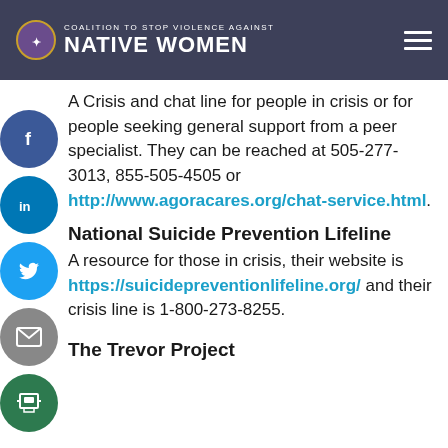Coalition to Stop Violence Against Native Women
A Crisis and chat line for people in crisis or for people seeking general support from a peer specialist. They can be reached at 505-277-3013, 855-505-4505 or http://www.agoracares.org/chat-service.html.
National Suicide Prevention Lifeline
A resource for those in crisis, their website is https://suicidepreventionlifeline.org/ and their crisis line is 1-800-273-8255.
The Trevor Project